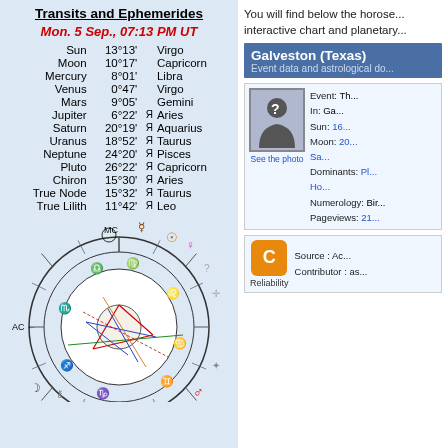Transits and Ephemerides
Mon. 5 Sep., 07:13 PM UT
| Planet | Degree | Retro | Sign |
| --- | --- | --- | --- |
| Sun | 13°13' |  | Virgo |
| Moon | 10°17' |  | Capricorn |
| Mercury | 8°01' |  | Libra |
| Venus | 0°47' |  | Virgo |
| Mars | 9°05' |  | Gemini |
| Jupiter | 6°22' | Я | Aries |
| Saturn | 20°19' | Я | Aquarius |
| Uranus | 18°52' | Я | Taurus |
| Neptune | 24°20' | Я | Pisces |
| Pluto | 26°22' | Я | Capricorn |
| Chiron | 15°30' | Я | Aries |
| True Node | 15°32' | Я | Taurus |
| True Lilith | 11°42' | Я | Leo |
[Figure (other): Astrological natal chart wheel showing zodiac signs, planetary positions, and aspect lines in various colors.]
You will find below the horoscope... interactive chart and planetary...
Galveston (Texas)
Event data and astrological do...
[Figure (photo): Placeholder person silhouette image with question mark. Below it: 'See the photo']
Event: Th...
In: Ga...
Sun: 16...
Moon: 20...
Sa...
Dominants: Pl...
Ho...
Numerology: Bir...
Pageviews: 21...
Source : Ac...
Contributor : as...
Reliability